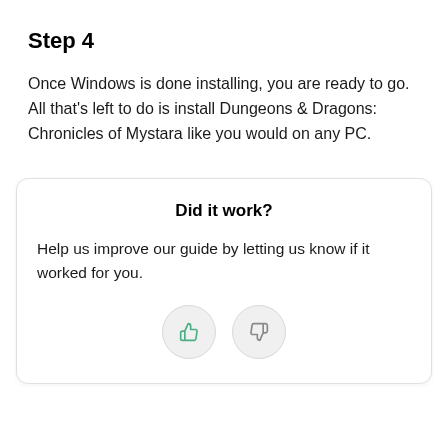Step 4
Once Windows is done installing, you are ready to go. All that’s left to do is install Dungeons & Dragons: Chronicles of Mystara like you would on any PC.
Did it work?
Help us improve our guide by letting us know if it worked for you.
[Figure (other): Two circular thumbs-up and thumbs-down feedback buttons]